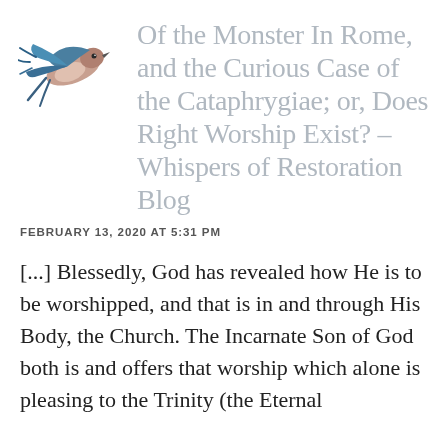[Figure (illustration): A stylized swallow/swift bird illustration in blue, teal, and light brown/pink, flying to the left]
Of the Monster In Rome, and the Curious Case of the Cataphrygiae; or, Does Right Worship Exist? – Whispers of Restoration Blog
FEBRUARY 13, 2020 AT 5:31 PM
[...] Blessedly, God has revealed how He is to be worshipped, and that is in and through His Body, the Church. The Incarnate Son of God both is and offers that worship which alone is pleasing to the Trinity (the Eternal